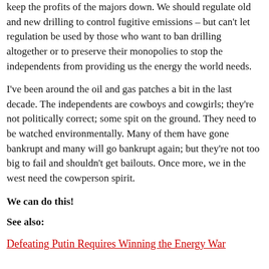keep the profits of the majors down. We should regulate old and new drilling to control fugitive emissions – but can't let regulation be used by those who want to ban drilling altogether or to preserve their monopolies to stop the independents from providing us the energy the world needs.
I've been around the oil and gas patches a bit in the last decade. The independents are cowboys and cowgirls; they're not politically correct; some spit on the ground. They need to be watched environmentally. Many of them have gone bankrupt and many will go bankrupt again; but they're not too big to fail and shouldn't get bailouts. Once more, we in the west need the cowperson spirit.
We can do this!
See also:
Defeating Putin Requires Winning the Energy War